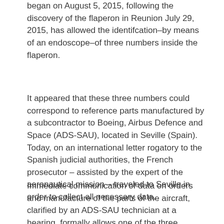began on August 5, 2015, following the discovery of the flaperon in Reunion July 29, 2015, has allowed the identifcation–by means of an endoscope–of three numbers inside the flaperon.
It appeared that these three numbers could correspond to reference parts manufactured by a subcontractor to Boeing, Airbus Defence and Space (ADS-SAU), located in Seville (Spain). Today, on an international letter rogatory to the Spanish judicial authorities, the French prosecutor – assisted by the expert of the aeronautical mission – traveled to Seville in order to collect all necessary data.
Immediate communication of data on orders and manufacture of the parts of the aircraft, clarified by an ADS-SAU technician at a hearing, formally allows one of the three